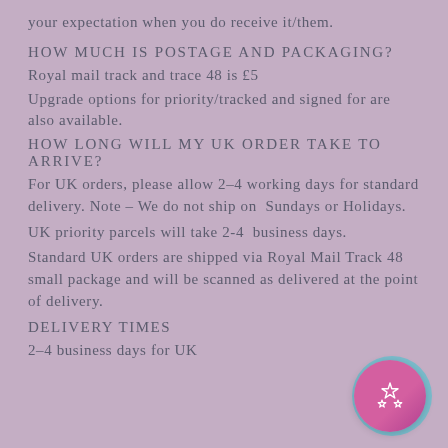your expectation when you do receive it/them.
HOW MUCH IS POSTAGE AND PACKAGING?
Royal mail track and trace 48 is £5
Upgrade options for priority/tracked and signed for are also available.
HOW LONG WILL MY UK ORDER TAKE TO ARRIVE?
For UK orders, please allow 2–4 working days for standard delivery. Note – We do not ship on Sundays or Holidays.
UK priority parcels will take 2-4 business days.
Standard UK orders are shipped via Royal Mail Track 48 small package and will be scanned as delivered at the point of delivery.
DELIVERY TIMES
2–4 business days for UK